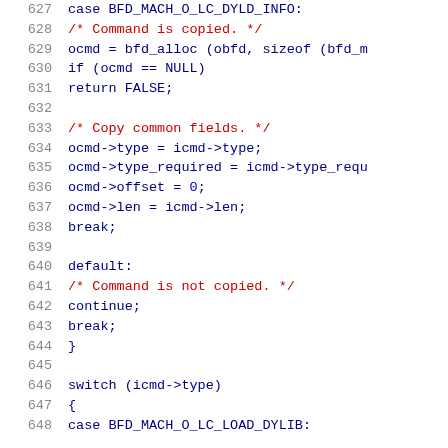[Figure (screenshot): Source code listing showing C code, lines 627-648, with line numbers in grey, keywords/identifiers in dark blue, comments in red, numeric literals in blue. Content includes a case BFD_MACH_O_LC_DYLD_INFO block with command copy logic, followed by a default block and a switch statement.]